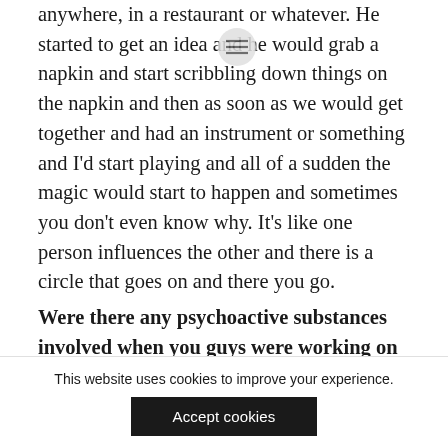anywhere, in a restaurant or whatever. He started to get an idea and he would grab a napkin and start scribbling down things on the napkin and then as soon as we would get together and had an instrument or something and I'd start playing and all of a sudden the magic would start to happen and sometimes you don't even know why. It's like one person influences the other and there is a circle that goes on and there you go.
Were there any psychoactive substances involved when you guys were working on
This website uses cookies to improve your experience.
Accept cookies